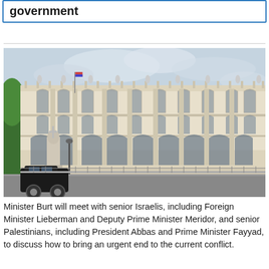government
[Figure (photo): Photograph of a large ornate neoclassical government building (likely the UK Foreign and Commonwealth Office on Whitehall, London), with arched windows, columns, and statues along the roofline. A black cab and a white memorial/monument are visible in the foreground left. Trees are visible on the far left. The sky is overcast.]
Minister Burt will meet with senior Israelis, including Foreign Minister Lieberman and Deputy Prime Minister Meridor, and senior Palestinians, including President Abbas and Prime Minister Fayyad, to discuss how to bring an urgent end to the current conflict.